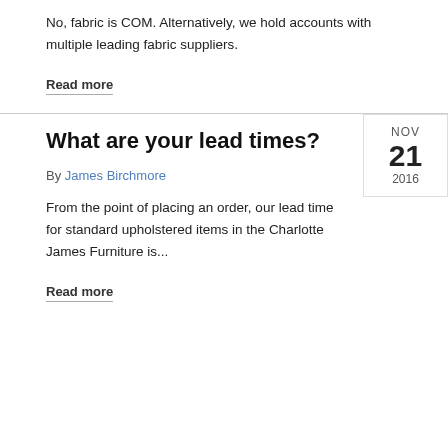No, fabric is COM. Alternatively, we hold accounts with multiple leading fabric suppliers.
Read more
NOV 21 2016
What are your lead times?
By James Birchmore
From the point of placing an order, our lead time for standard upholstered items in the Charlotte James Furniture is...
Read more